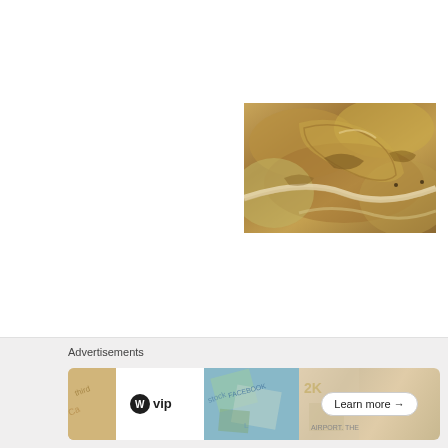[Figure (photo): Aerial or close-up photograph of eroded rocky terrain with curved road or path visible, brownish-tan rocky landscape with layered geological formations]
Advertisements
[Figure (infographic): Advertisement banner for WordPress VIP with logo, colorful background strips showing social media and stock imagery, and a 'Learn more' button with arrow]